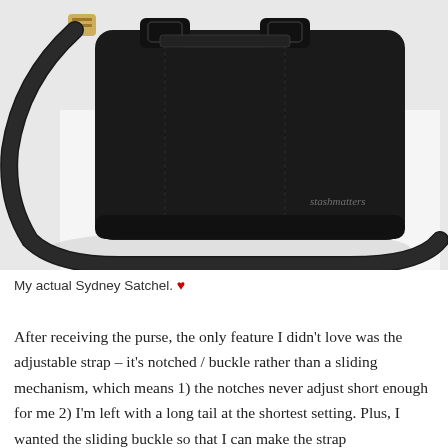[Figure (photo): A black leather Sydney Satchel handbag with shoulder strap and gold hardware, photographed on a white/light background. Watermark text 'stashmatters' visible in lower right area of image.]
My actual Sydney Satchel. ♥
After receiving the purse, the only feature I didn't love was the adjustable strap – it's notched / buckle rather than a sliding mechanism, which means 1) the notches never adjust short enough for me 2) I'm left with a long tail at the shortest setting. Plus, I wanted the sliding buckle so that I can make the strap